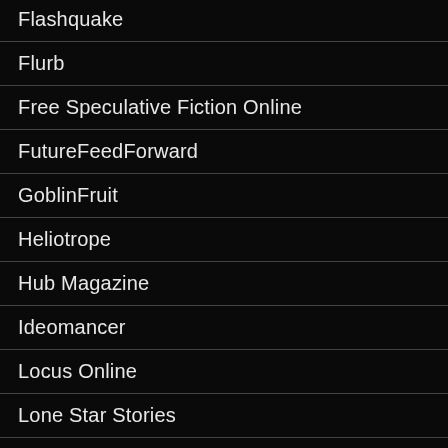Flashquake
Flurb
Free Speculative Fiction Online
FutureFeedForward
GoblinFruit
Heliotrope
Hub Magazine
Ideomancer
Locus Online
Lone Star Stories
MindFlights
New Dawn Fades
Pantechnicon